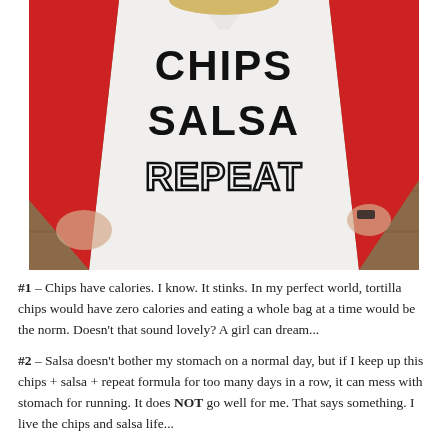[Figure (photo): Photo of a person wearing a white baseball tee with red sleeves, with the text 'CHIPS SALSA REPEAT' printed on the front. The person's face is not visible, shot from neck down. Background is a wooden door.]
#1 – Chips have calories. I know. It stinks. In my perfect world, tortilla chips would have zero calories and eating a whole bag at a time would be the norm. Doesn't that sound lovely? A girl can dream...
#2 – Salsa doesn't bother my stomach on a normal day, but if I keep up this chips + salsa + repeat formula for too many days in a row, it can mess with stomach for running. It does NOT go well for me. That says something. I live the chips and salsa life...